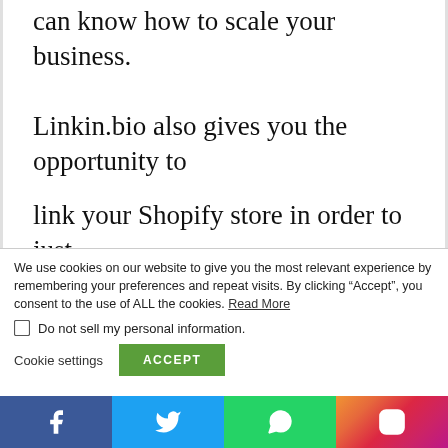can know how to scale your business.
Linkin.bio also gives you the opportunity to link your Shopify store in order to just simplify the process of showcasing and
We use cookies on our website to give you the most relevant experience by remembering your preferences and repeat visits. By clicking “Accept”, you consent to the use of ALL the cookies. Read More
Do not sell my personal information.
Cookie settings
ACCEPT